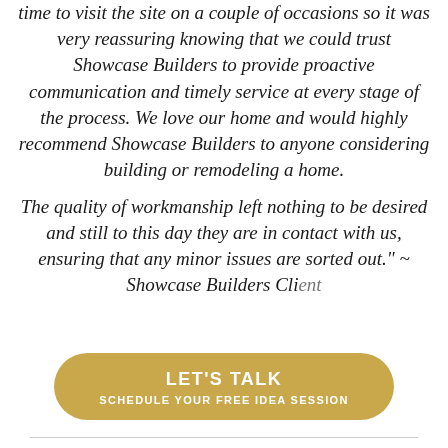time to visit the site on a couple of occasions so it was very reassuring knowing that we could trust Showcase Builders to provide proactive communication and timely service at every stage of the process. We love our home and would highly recommend Showcase Builders to anyone considering building or remodeling a home.

The quality of workmanship left nothing to be desired and still to this day they are in contact with us, ensuring that any minor issues are sorted out." ~ Showcase Builders Client
[Figure (other): Gold rounded button with text 'LET'S TALK' and subtitle 'SCHEDULE YOUR FREE IDEA SESSION']